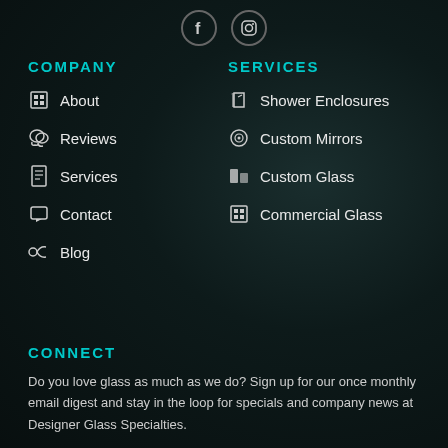[Figure (other): Social media icons: Facebook (f) and Instagram circle icons]
COMPANY
About
Reviews
Services
Contact
Blog
SERVICES
Shower Enclosures
Custom Mirrors
Custom Glass
Commercial Glass
CONNECT
Do you love glass as much as we do? Sign up for our once monthly email digest and stay in the loop for specials and company news at Designer Glass Specialties.